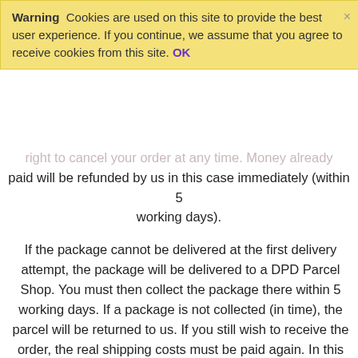Warning  Cookies are used on this site to provide the best user experience. If you continue, we assume that you agree to receive cookies from this site. OK
paid will be refunded by us in this case immediately (within 5 working days).
If the package cannot be delivered at the first delivery attempt, the package will be delivered to a DPD Parcel Shop. You must then collect the package there within 5 working days. If a package is not collected (in time), the parcel will be returned to us. If you still wish to receive the order, the real shipping costs must be paid again. In this case, if you cancel the order, we will deduct the real shipping costs from the refund. Even if you indicate that you have been at home the whole day, the above will not be deviated from! (real shipping costs are the costs as charged for orders up to 60 euro)